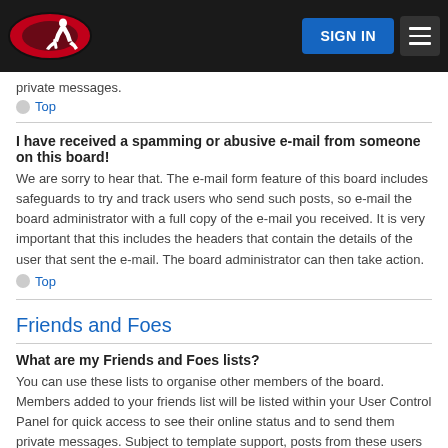SIGN IN [navigation header with logo]
private messages.
Top
I have received a spamming or abusive e-mail from someone on this board!
We are sorry to hear that. The e-mail form feature of this board includes safeguards to try and track users who send such posts, so e-mail the board administrator with a full copy of the e-mail you received. It is very important that this includes the headers that contain the details of the user that sent the e-mail. The board administrator can then take action.
Top
Friends and Foes
What are my Friends and Foes lists?
You can use these lists to organise other members of the board. Members added to your friends list will be listed within your User Control Panel for quick access to see their online status and to send them private messages. Subject to template support, posts from these users may also be highlighted. If you add a user to your